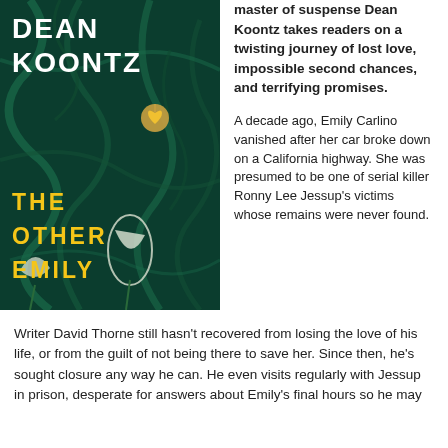[Figure (illustration): Book cover of 'The Other Emily' by Dean Koontz. Dark teal/green background with vine-like tendrils. Author name 'DEAN KOONTZ' in large white bold text at top. Title 'THE OTHER EMILY' in large yellow/gold bold text at bottom. A glowing heart locket pendant and white calla lily flowers visible.]
master of suspense Dean Koontz takes readers on a twisting journey of lost love, impossible second chances, and terrifying promises.
A decade ago, Emily Carlino vanished after her car broke down on a California highway. She was presumed to be one of serial killer Ronny Lee Jessup's victims whose remains were never found.
Writer David Thorne still hasn't recovered from losing the love of his life, or from the guilt of not being there to save her. Since then, he's sought closure any way he can. He even visits regularly with Jessup in prison, desperate for answers about Emily's final hours so he may